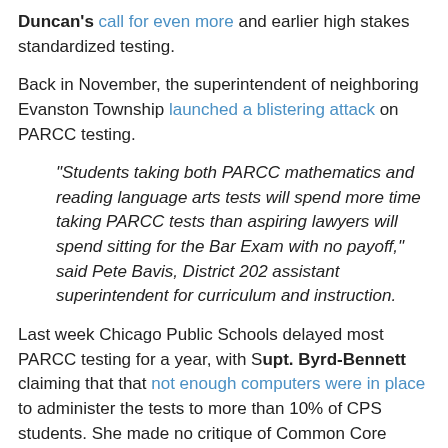Duncan's call for even more and earlier high stakes standardized testing.
Back in November, the superintendent of neighboring Evanston Township launched a blistering attack on PARCC testing.
“Students taking both PARCC mathematics and reading language arts tests will spend more time taking PARCC tests than aspiring lawyers will spend sitting for the Bar Exam with no payoff,” said Pete Bavis, District 202 assistant superintendent for curriculum and instruction.
Last week Chicago Public Schools delayed most PARCC testing for a year, with Supt. Byrd-Bennett claiming that that not enough computers were in place to administer the tests to more than 10% of CPS students. She made no critique of Common Core testing but was obviously worried about possible results and fallout from the tests.
But you can bet Winnetka’s blast at Duncan’s testing